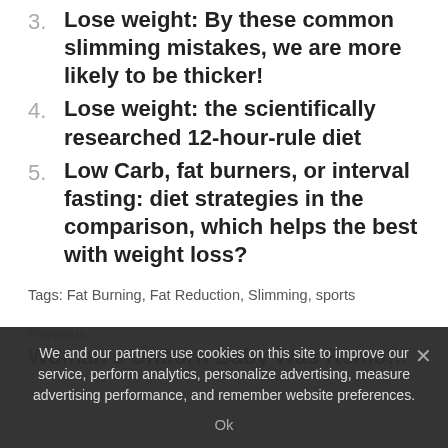3. Lose weight: By these common slimming mistakes, we are more likely to be thicker!
4. Lose weight: the scientifically researched 12-hour-rule diet
5. Low Carb, fat burners, or interval fasting: diet strategies in the comparison, which helps the best with weight loss?
Tags: Fat Burning, Fat Reduction, Slimming, sports
Previous
Woman's Unborn Baby Was Removed from Her
We and our partners use cookies on this site to improve our service, perform analytics, personalize advertising, measure advertising performance, and remember website preferences.